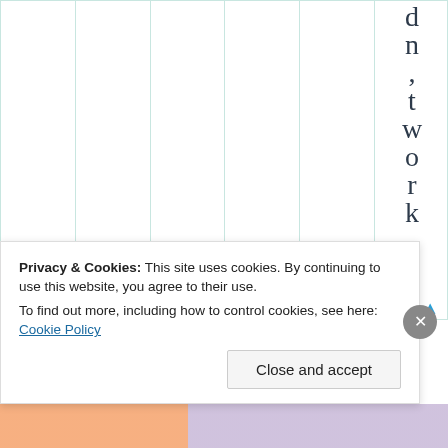|  |  |  |  |  | d
n
,
t
w
o
r
k
. |
Privacy & Cookies: This site uses cookies. By continuing to use this website, you agree to their use. To find out more, including how to control cookies, see here: Cookie Policy
Close and accept